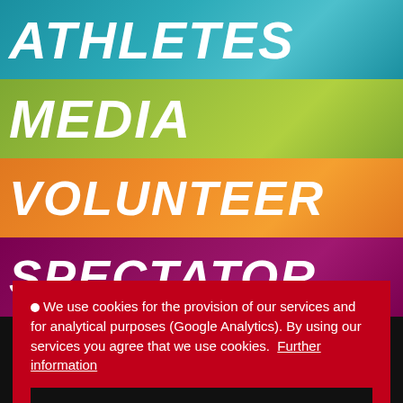ATHLETES
MEDIA
VOLUNTEER
SPECTATOR
We use cookies for the provision of our services and for analytical purposes (Google Analytics). By using our services you agree that we use cookies. Further information
OK